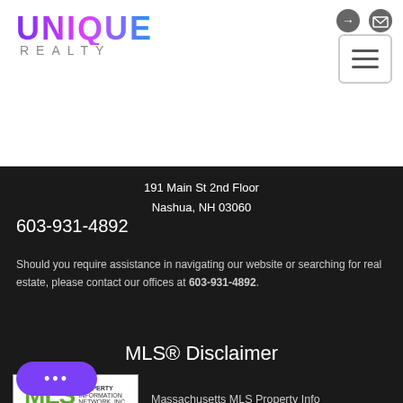[Figure (logo): Unique Realty logo with colorful UNIQUE text and REALTY subtitle]
191 Main St 2nd Floor
Nashua, NH 03060
603-931-4892
Should you require assistance in navigating our website or searching for real estate, please contact our offices at 603-931-4892.
MLS® Disclaimer
[Figure (logo): MLS Property Information Network, Inc. logo - the total listing service]
Massachusetts MLS Property Info Network (MLSPIN) - The property listing data and information set forth herein were provided to MLS Property Information Network, Inc. from third party sources, including sellers, lessors and public